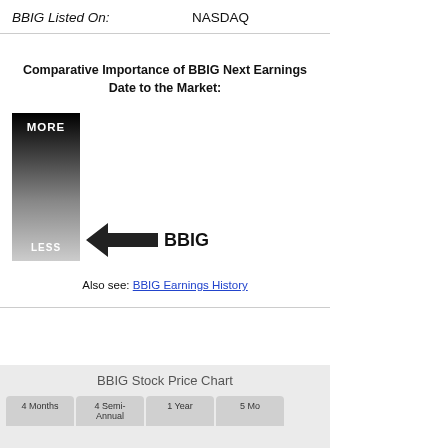| BBIG Listed On: |  |
| --- | --- |
| BBIG Listed On: | NASDAQ |
Comparative Importance of BBIG Next Earnings Date to the Market:
[Figure (infographic): Vertical gradient bar from black (MORE) at top to light gray (LESS) at bottom, with a black arrow pointing left toward the bar and the label BBIG to the right of the arrow, indicating BBIG's position near the bottom/LESS end of the importance scale.]
Also see: BBIG Earnings History
BBIG Stock Price Chart
4 Months  4 Semi-Annual  1 Year  5 Mo